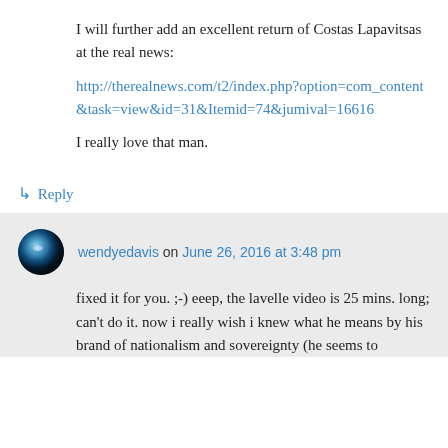I will further add an excellent return of Costas Lapavitsas at the real news:
http://therealnews.com/t2/index.php?option=com_content&task=view&id=31&Itemid=74&jumival=16616
I really love that man.
↳ Reply
wendyedavis on June 26, 2016 at 3:48 pm
fixed it for you. ;-) eeep, the lavelle video is 25 mins. long; can't do it. now i really wish i knew what he means by his brand of nationalism and sovereignty (he seems to